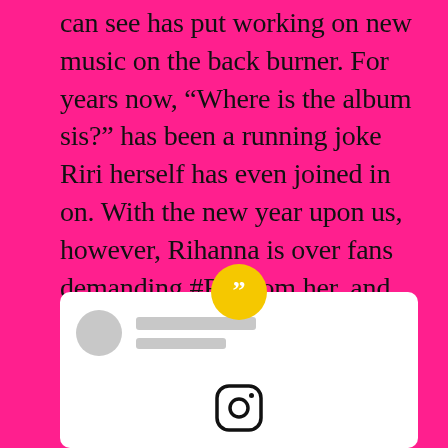can see has put working on new music on the back burner. For years now, “Where is the album sis?” has been a running joke Riri herself has even joined in on. With the new year upon us, however, Rihanna is over fans demanding #R9 from her, and she is making that very clear.
[Figure (screenshot): A white card with a yellow quotation mark bubble at the top center, a gray avatar circle and two gray placeholder lines for a username/handle, and an Instagram logo icon at the bottom center.]